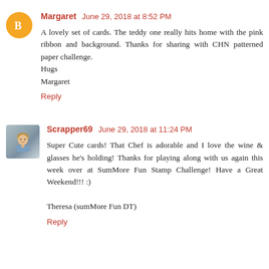Margaret  June 29, 2018 at 8:52 PM
A lovely set of cards. The teddy one really hits home with the pink ribbon and background. Thanks for sharing with CHN patterned paper challenge.
Hugs
Margaret
Reply
Scrapper69  June 29, 2018 at 11:24 PM
Super Cute cards! That Chef is adorable and I love the wine & glasses he's holding! Thanks for playing along with us again this week over at SumMore Fun Stamp Challenge! Have a Great Weekend!!! :)

Theresa (sumMore Fun DT)
Reply